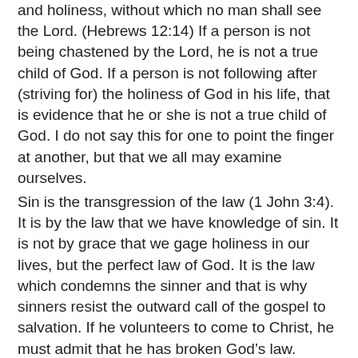and holiness, without which no man shall see the Lord. (Hebrews 12:14) If a person is not being chastened by the Lord, he is not a true child of God. If a person is not following after (striving for) the holiness of God in his life, that is evidence that he or she is not a true child of God. I do not say this for one to point the finger at another, but that we all may examine ourselves.
Sin is the transgression of the law (1 John 3:4). It is by the law that we have knowledge of sin. It is not by grace that we gage holiness in our lives, but the perfect law of God. It is the law which condemns the sinner and that is why sinners resist the outward call of the gospel to salvation. If he volunteers to come to Christ, he must admit that he has broken God’s law. Removing the Ten Commandments from the Court House will not remove the guilt of sin from the conscience of man.
We have a number of illustrations in the word of God of truly holy men and women. Take a look at Hebrews 11:24-